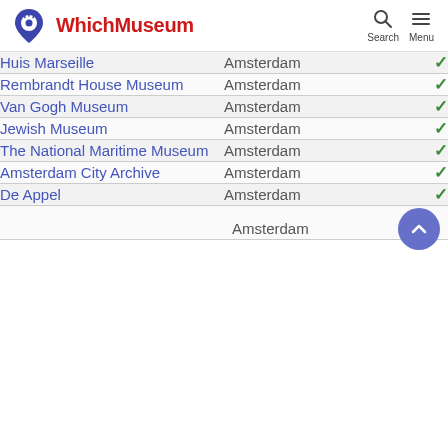WhichMuseum | Search | Menu
| Museum | City | Visited |
| --- | --- | --- |
| Huis Marseille | Amsterdam | ✓ |
| Rembrandt House Museum | Amsterdam | ✓ |
| Van Gogh Museum | Amsterdam | ✓ |
| Jewish Museum | Amsterdam | ✓ |
| The National Maritime Museum | Amsterdam | ✓ |
| Amsterdam City Archive | Amsterdam | ✓ |
| De Appel | Amsterdam | ✓ |